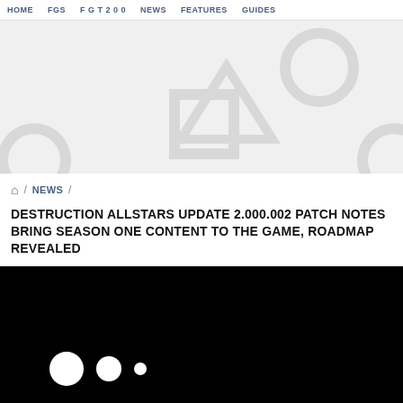HOME / FGS / F G T 2 0 0 / NEWS / FEATURES / GUIDES
[Figure (illustration): Gray hero banner with PlayStation controller symbol icons (circle, square, triangle, cross) as large watermark-style shapes in light gray on a light gray background]
🏠 / NEWS / DESTRUCTION ALLSTARS UPDATE 2.000.002 PATCH NOTES BRING SEASON ONE CONTENT TO THE GAME, ROADMAP REVEALED
DESTRUCTION ALLSTARS UPDATE 2.000.002 PATCH NOTES BRING SEASON ONE CONTENT TO THE GAME, ROADMAP REVEALED
[Figure (screenshot): Black video player area with three white loading dots (large, medium, small) indicating video is loading]